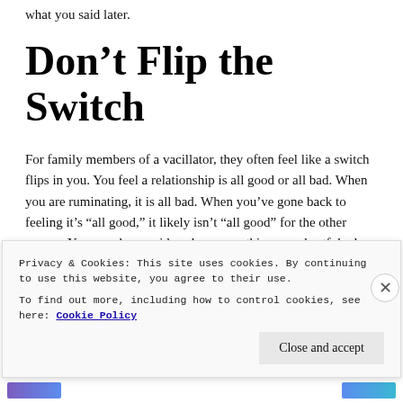what you said later.
Don’t Flip the Switch
For family members of a vacillator, they often feel like a switch flips in you. You feel a relationship is all good or all bad. When you are ruminating, it is all bad. When you’ve gone back to feeling it’s “all good,” it likely isn’t “all good” for the other person. You may have said or done something very hurtful when you were feeling it was “all bad.” When you go back to feeling its “all good” it will
Privacy & Cookies: This site uses cookies. By continuing to use this website, you agree to their use.
To find out more, including how to control cookies, see here: Cookie Policy
Close and accept